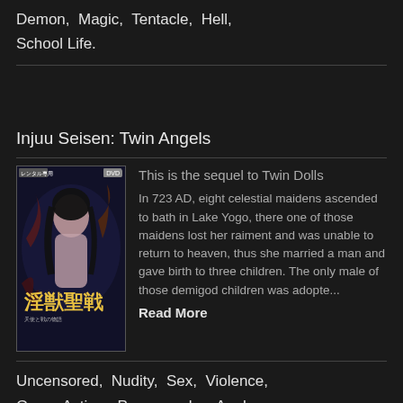Demon,  Magic,  Tentacle,  Hell,  School Life.
Injuu Seisen: Twin Angels
[Figure (illustration): Anime/manga cover art for Injuu Seisen: Twin Angels showing a female character with dark hair surrounded by tentacles, with Japanese title text 淫獣聖戦 on a dark blue background. DVD badge in top right corner.]
This is the sequel to Twin Dolls
In 723 AD, eight celestial maidens ascended to bath in Lake Yogo, there one of those maidens lost her raiment and was unable to return to heaven, thus she married a man and gave birth to three children. The only male of those demigod children was adopte...
Read More
Uncensored,  Nudity,  Sex,  Violence,  Gore,  Action,  Pornography,  Anal,